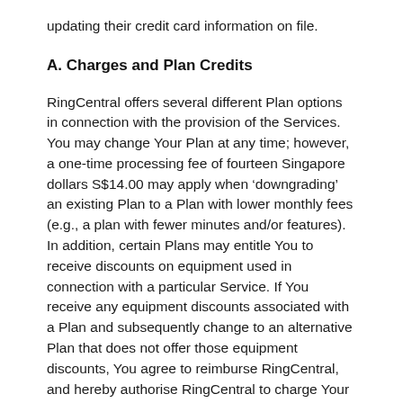updating their credit card information on file.
A. Charges and Plan Credits
RingCentral offers several different Plan options in connection with the provision of the Services. You may change Your Plan at any time; however, a one-time processing fee of fourteen Singapore dollars S$14.00 may apply when ‘downgrading’ an existing Plan to a Plan with lower monthly fees (e.g., a plan with fewer minutes and/or features). In addition, certain Plans may entitle You to receive discounts on equipment used in connection with a particular Service. If You receive any equipment discounts associated with a Plan and subsequently change to an alternative Plan that does not offer those equipment discounts, You agree to reimburse RingCentral, and hereby authorise RingCentral to charge Your